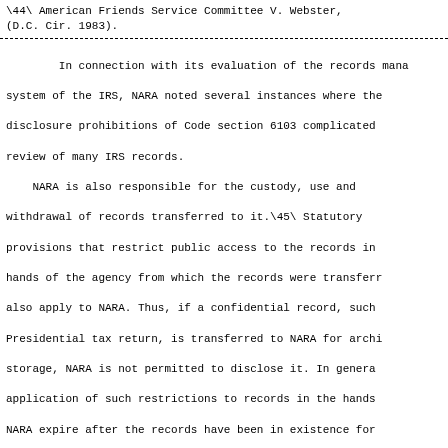\44\ American Friends Service Committee V. Webster, (D.C. Cir. 1983).
In connection with its evaluation of the records management system of the IRS, NARA noted several instances where the disclosure prohibitions of Code section 6103 complicated review of many IRS records.
    NARA is also responsible for the custody, use and withdrawal of records transferred to it.\45\ Statutory provisions that restrict public access to the records in hands of the agency from which the records were transferred also apply to NARA. Thus, if a confidential record, such Presidential tax return, is transferred to NARA for archival storage, NARA is not permitted to disclose it. In general, application of such restrictions to records in the hands of NARA expire after the records have been in existence for 30 years.\46\ The issue of whether the specific disclosure prohibition of section 6103 takes precedence over the general 30-year expiration of restrictions generally applicable to records in the hands of NARA has not been addressed by a court, but an informal advisory opinion from the Office of Legal Counsel of the Attorney General concluded that the 30-year expiration provision would not reach records subject to section 6103.\47\
\45\ 44 U.S.C. sec. 2108.
\46\ 44 U.S.C. sec. 2108.
\47\ Department of Justice, Office of Legal Counsel, Richard K. Willard, Assistant Attorney General (Civil Division) (February 27, 1986).